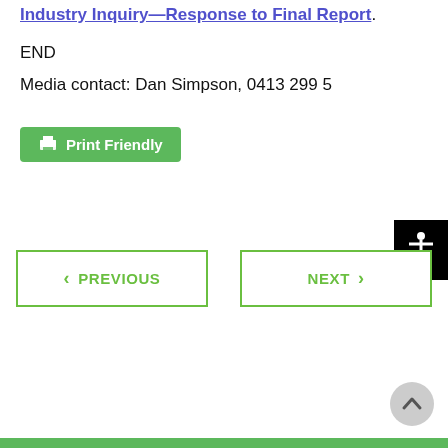Industry Inquiry—Response to Final Report.
END
Media contact: Dan Simpson, 0413 299 5...
[Figure (other): Print Friendly button - green button with printer icon]
[Figure (other): Accessibility widget - black square with human figure icon]
< PREVIOUS
NEXT >
[Figure (other): Scroll to top button - circular grey button with up arrow]